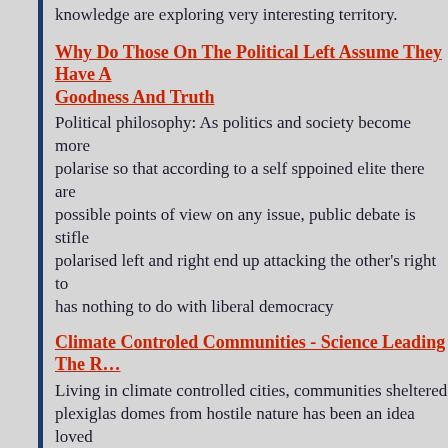knowledge are exploring very interesting territory.
Why Do Those On The Political Left Assume They Have A Goodness And Truth
Political philosophy: As politics and society become more polarise so that according to a self sppoined elite there are possible points of view on any issue, public debate is stifle polarised left and right end up attacking the other's right to has nothing to do with liberal democracy
Climate Controled Communities - Science Leading The R...
Living in climate controlled cities, communities sheltered plexiglas domes from hostile nature has been an idea loved writers for many years. And as modern scientists seem to d scientific education from Star Trek and The Matrix, is it a are talking about making the idea reality?
The Mummers: The Controlling system And The Illusion O...
We live in a world of deception, where truth is an ephemer slippery as an eel and shadowy as a spectre. What we are perceive as reality is just spin and misinformation designed elite maintain their control. There's eff all you can do just...